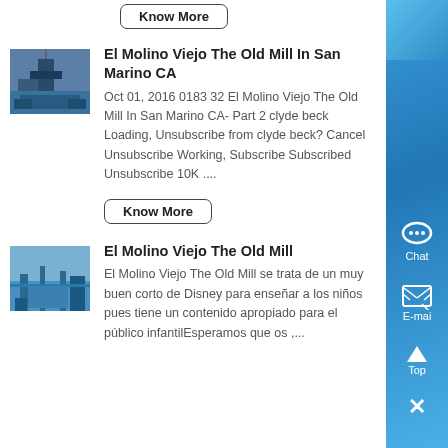Know More
El Molino Viejo The Old Mill In San Marino CA
Oct 01, 2016 0183 32 El Molino Viejo The Old Mill In San Marino CA- Part 2 clyde beck Loading, Unsubscribe from clyde beck? Cancel Unsubscribe Working, Subscribe Subscribed Unsubscribe 10K ....
Know More
El Molino Viejo The Old Mill
El Molino Viejo The Old Mill se trata de un muy buen corto de Disney para enseñar a los niños pues tiene un contenido apropiado para el público infantilEsperamos que os ,...